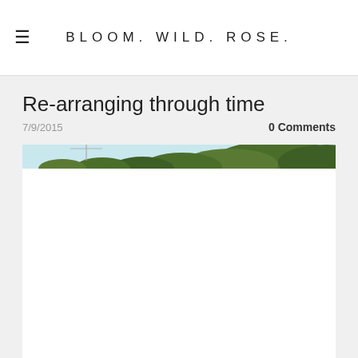BLOOM. WILD. ROSE.
Re-arranging through time
7/9/2015
0 Comments
[Figure (photo): Outdoor photo showing green trees against a light blue sky, with what appears to be a utility pole or wire visible. Only the top strip of the image is visible, the rest is white/blank.]